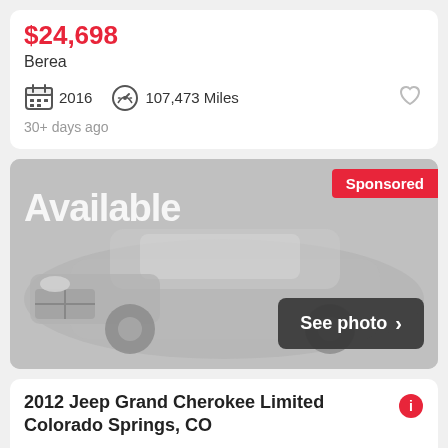$24,698
Berea
2016  107,473 Miles
30+ days ago
[Figure (photo): Blurred gray BMW car photo with 'Available' text overlay, Sponsored badge, and See photo button]
2012 Jeep Grand Cherokee Limited Colorado Springs, CO
$16,995
Colorado Springs
2012  119,600 Miles